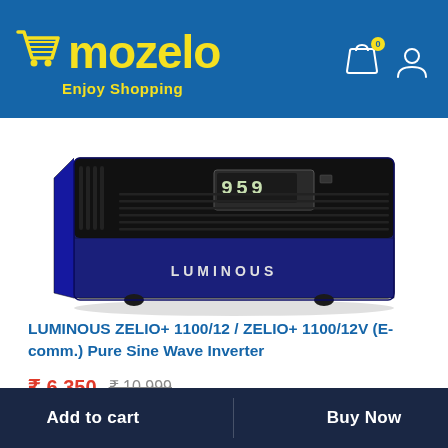mozelo – Enjoy Shopping
[Figure (photo): LUMINOUS brand inverter device, blue and black color, showing display reading 959, rubber feet at bottom, viewed from front-left angle]
LUMINOUS ZELIO+ 1100/12 / ZELIO+ 1100/12V (E-comm.) Pure Sine Wave Inverter
₹ 6,350  ₹ 10,999
Add to cart    Buy Now